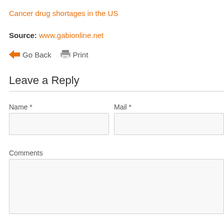Cancer drug shortages in the US
Source: www.gabionline.net
Go Back  Print
Leave a Reply
Name *
Mail *
Comments